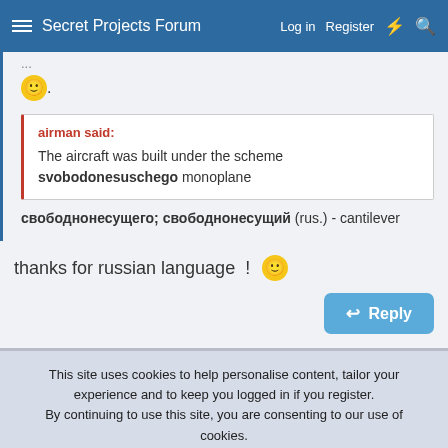Secret Projects Forum  Log in  Register
😊 .
airman said: The aircraft was built under the scheme svobodonesuschego monoplane
свободнонесущего; свободнонесущий (rus.) - cantilever
thanks for russian language ! 😊
Reply
This site uses cookies to help personalise content, tailor your experience and to keep you logged in if you register. By continuing to use this site, you are consenting to our use of cookies.
✓ Accept   Learn more...